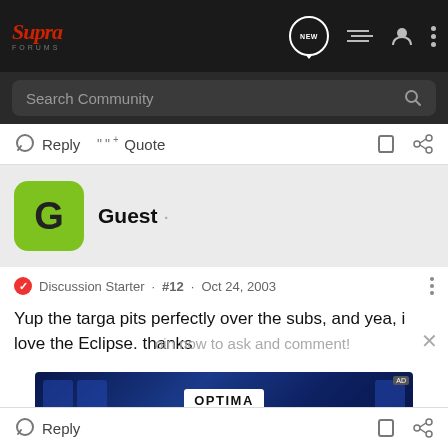Supra Forums — Navigation bar with Search Community
Reply   Quote
Guest ·
Discussion Starter · #12 · Oct 24, 2003
Yup the targa pits perfectly over the subs, and yea, i love the Eclipse. thanks
Join now to ask and comment!
Continue with Facebook
[Figure (photo): Optima Batteries advertisement banner with blue background]
Reply